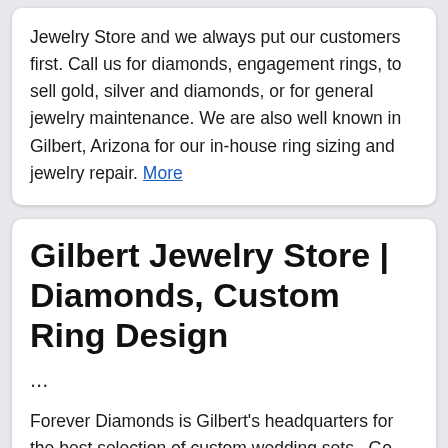Jewelry Store and we always put our customers first. Call us for diamonds, engagement rings, to sell gold, silver and diamonds, or for general jewelry maintenance. We are also well known in Gilbert, Arizona for our in-house ring sizing and jewelry repair. More
Gilbert Jewelry Store | Diamonds, Custom Ring Design
...
Forever Diamonds is Gilbert's headquarters for the best selection of custom wedding sets . Go Shopping. shop online. We Buy Gold. Gilbert Diamond & Jewelry Experts. Conveniently located in Gilbert, AZ we offer professional jewelry and watch repair. If you're looking for someone you can trust to help you purchase a new jewelry piece or to ... More